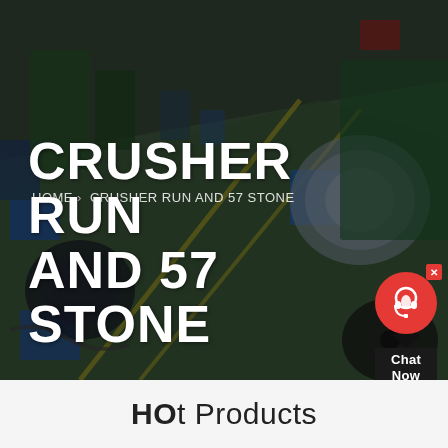[Figure (photo): Aerial/overhead view of an industrial manufacturing facility floor with machinery, equipment, blue containers, green floor markings and yellow lane stripes. Darkened with overlay.]
HOME  CRUSHER RUN AND 57 STONE
CRUSHER RUN AND 57 STONE
HOt Products